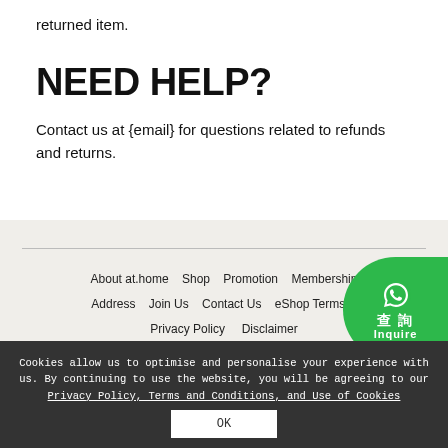returned item.
NEED HELP?
Contact us at {email} for questions related to refunds and returns.
About at.home  Shop  Promotion  Membership  Address  Join Us  Contact Us  eShop Terms &  Privacy Policy  Disclaimer
[Figure (other): WhatsApp inquiry badge with Chinese characters 查詢 and English word Inquire on green circular badge]
Cookies allow us to optimise and personalise your experience with us. By continuing to use the website, you will be agreeing to our Privacy Policy, Terms and Conditions, and Use of Cookies
OK